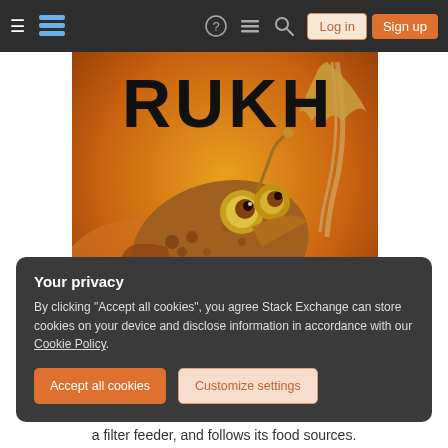[Figure (screenshot): Stack Exchange navigation bar with hamburger menu, logo, icons, Log in and Sign up buttons on dark background]
[Figure (illustration): Book cover for 'RUKH' showing large alien fish-like creature flying through orange cloudy sky]
Your privacy
By clicking "Accept all cookies", you agree Stack Exchange can store cookies on your device and disclose information in accordance with our Cookie Policy.
Accept all cookies
Customize settings
a filter feeder, and follows its food sources.